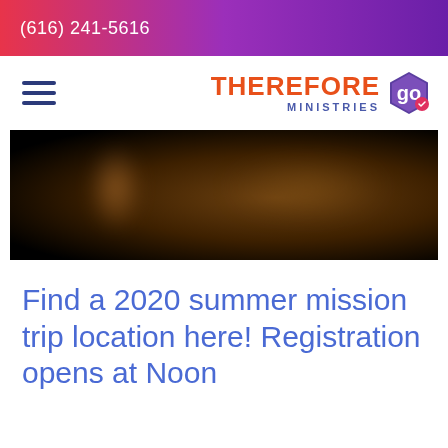(616) 241-5616
[Figure (logo): Therefore Go Ministries logo with hamburger menu icon on the left and the logo on the right showing 'THEREFORE go MINISTRIES' text with a hexagon icon]
[Figure (photo): Dark hero banner image with blurred warm-toned content on a black background]
Find a 2020 summer mission trip location here! Registration opens at Noon